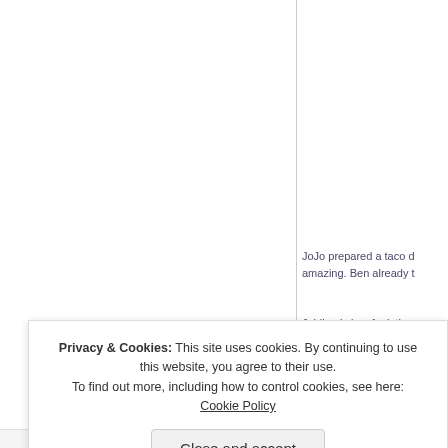JoJo prepared a taco d... amazing. Ben already t...
Jubilee is in a funk the... e 6...
Privacy & Cookies: This site uses cookies. By continuing to use this website, you agree to their use.
To find out more, including how to control cookies, see here: Cookie Policy
Close and accept